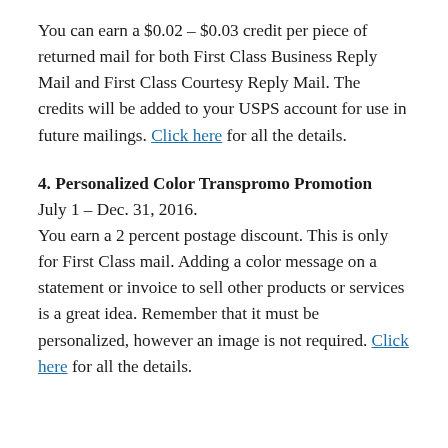You can earn a $0.02 – $0.03 credit per piece of returned mail for both First Class Business Reply Mail and First Class Courtesy Reply Mail. The credits will be added to your USPS account for use in future mailings. Click here for all the details.
4. Personalized Color Transpromo Promotion
July 1 – Dec. 31, 2016.
You earn a 2 percent postage discount. This is only for First Class mail. Adding a color message on a statement or invoice to sell other products or services is a great idea. Remember that it must be personalized, however an image is not required. Click here for all the details.